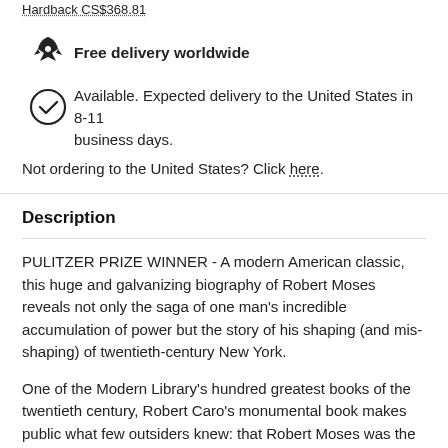Hardback CS$368.81
Free delivery worldwide
Available. Expected delivery to the United States in 8-11 business days.
Not ordering to the United States? Click here.
Description
PULITZER PRIZE WINNER - A modern American classic, this huge and galvanizing biography of Robert Moses reveals not only the saga of one man's incredible accumulation of power but the story of his shaping (and mis-shaping) of twentieth-century New York.
One of the Modern Library's hundred greatest books of the twentieth century, Robert Caro's monumental book makes public what few outsiders knew: that Robert Moses was the single most powerful man of his time in the City and in the State of New York. And in telling the Moses story, Caro both opens up to an